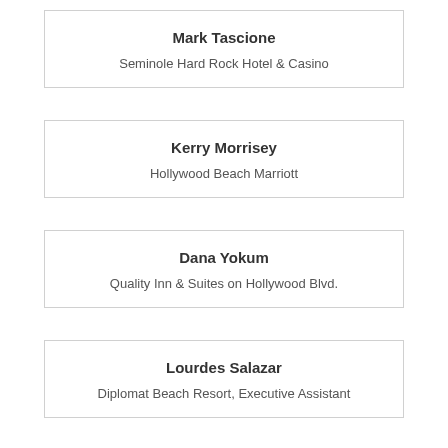Mark Tascione
Seminole Hard Rock Hotel & Casino
Kerry Morrisey
Hollywood Beach Marriott
Dana Yokum
Quality Inn & Suites on Hollywood Blvd.
Lourdes Salazar
Diplomat Beach Resort, Executive Assistant